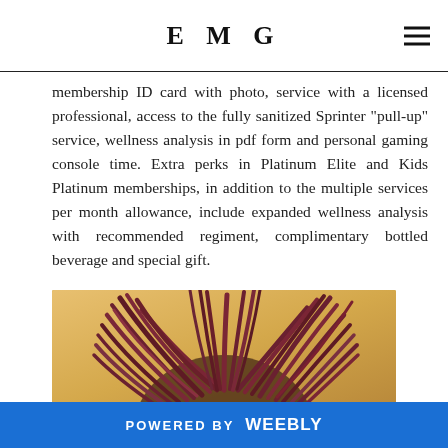EMG
membership ID card with photo, service with a licensed professional, access to the fully sanitized Sprinter "pull-up" service, wellness analysis in pdf form and personal gaming console time. Extra perks in Platinum Elite and Kids Platinum memberships, in addition to the multiple services per month allowance, include expanded wellness analysis with recommended regiment, complimentary bottled beverage and special gift.
[Figure (photo): Partial head view showing dark reddish-brown dreadlocks/locs against a warm golden-yellow background]
POWERED BY weebly